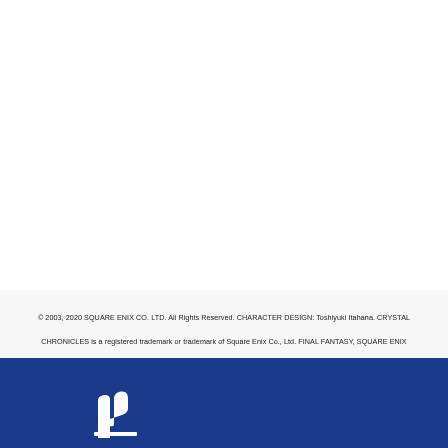© 2003, 2020 SQUARE ENIX CO. LTD. All Rights Reserved. CHARACTER DESIGN: Toshiyuki Itahana. CRYSTAL CHRONICLES is a registered trademark or trademark of Square Enix Co., Ltd. FINAL FANTASY, SQUARE ENIX and the SQUARE ENIX logo are registered trademarks or trademarks of Square Enix Holdings Co., Ltd.
[Figure (logo): PlayStation logo (partial, white 'P' shape) on dark blue background]